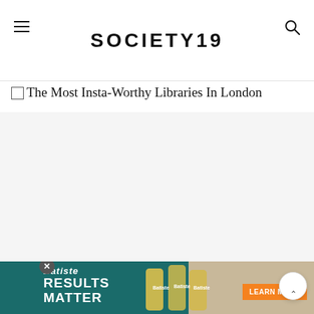SOCIETY19
The Most Insta-Worthy Libraries In London
[Figure (photo): Large article hero image area (blank/loading) for 'The Most Insta-Worthy Libraries In London']
[Figure (infographic): Advertisement banner for Batiste hair products - 'Results Matter' with 'Learn More' CTA button on orange background]